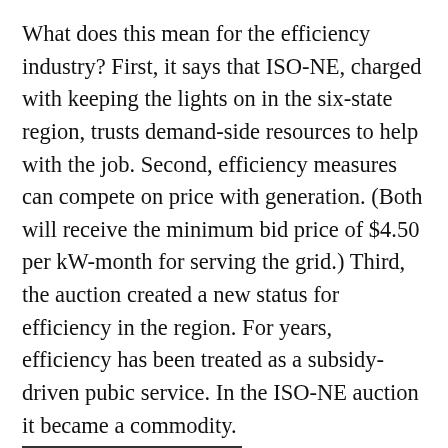What does this mean for the efficiency industry? First, it says that ISO-NE, charged with keeping the lights on in the six-state region, trusts demand-side resources to help with the job. Second, efficiency measures can compete on price with generation. (Both will receive the minimum bid price of $4.50 per kW-month for serving the grid.) Third, the auction created a new status for efficiency in the region. For years, efficiency has been treated as a subsidy-driven pubic service. In the ISO-NE auction it became a commodity.